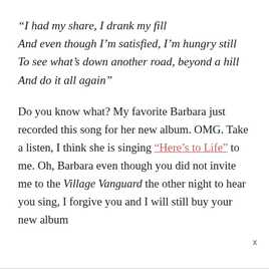“I had my share, I drank my fill And even though I’m satisfied, I’m hungry still To see what’s down another road, beyond a hill And do it all again”
Do you know what? My favorite Barbara just recorded this song for her new album. OMG. Take a listen, I think she is singing “Here’s to Life” to me. Oh, Barbara even though you did not invite me to the Village Vanguard the other night to hear you sing, I forgive you and I will still buy your new album